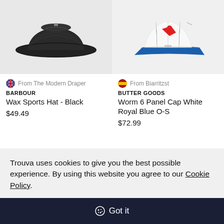[Figure (photo): Black wax bucket hat on light grey background]
[Figure (photo): White and royal blue 6 panel cap on light grey background]
From The Modern Draper
BARBOUR
Wax Sports Hat - Black
$49.49
From Biarritzst
BUTTER GOODS
Worm 6 Panel Cap White Royal Blue O-S
$72.99
Trouva uses cookies to give you the best possible experience. By using this website you agree to our Cookie Policy.
Got it